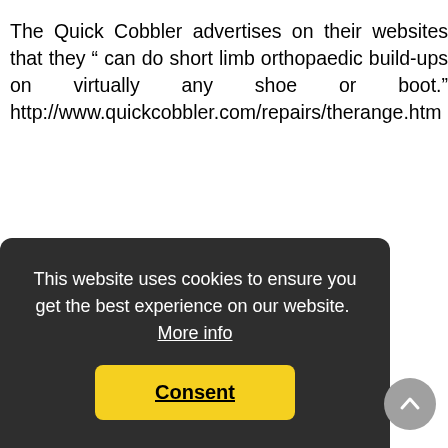The Quick Cobbler advertises on their websites that they " can do short limb orthopaedic build-ups on virtually any shoe or boot." http://www.quickcobbler.com/repairs/therange.htm
This website uses cookies to ensure you get the best experience on our website. More info
Consent